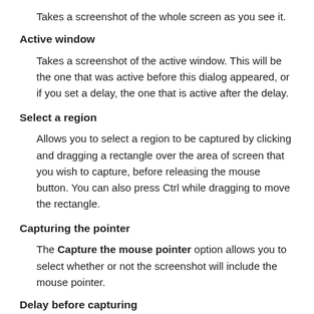Takes a screenshot of the whole screen as you see it.
Active window
Takes a screenshot of the active window. This will be the one that was active before this dialog appeared, or if you set a delay, the one that is active after the delay.
Select a region
Allows you to select a region to be captured by clicking and dragging a rectangle over the area of screen that you wish to capture, before releasing the mouse button. You can also press Ctrl while dragging to move the rectangle.
Capturing the pointer
The Capture the mouse pointer option allows you to select whether or not the screenshot will include the mouse pointer.
Delay before capturing
The Delay before capturing section allows you to set the delay that will elapse between pressing the OK button and screenshot being